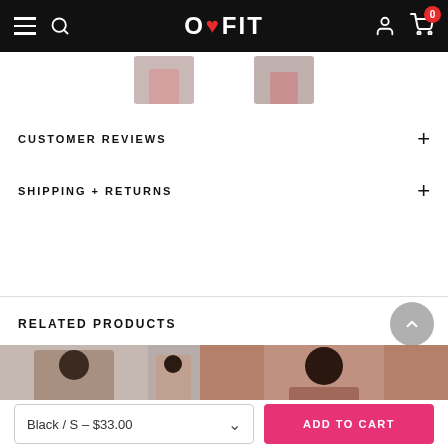O❤FIT navigation bar
[Figure (screenshot): Partial product thumbnail images at top]
CUSTOMER REVIEWS
SHIPPING + RETURNS
RELATED PRODUCTS
[Figure (photo): Related products photos showing women in fitness wear]
Black / S – $33.00
ADD TO CART